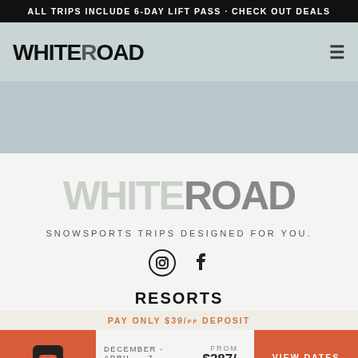ALL TRIPS INCLUDE 6-DAY LIFT PASS · CHECK OUT DEALS
[Figure (logo): WHITEROAD logo in black bold text on light teal/grey navigation bar with hamburger menu icon on right]
[Figure (photo): Light blue-grey hero image background area]
[Figure (logo): WHITEROAD watermark logo in muted grey tones on light background]
SNOWSPORTS TRIPS DESIGNED FOR YOU.
[Figure (other): Instagram and Facebook social media icons]
RESORTS
PAY ONLY $39/pp DEPOSIT
[Figure (other): Orange chat/support button icon on bottom left]
DECEMBER - APRIL · 7
FROM $387/pp
VIEW DATES